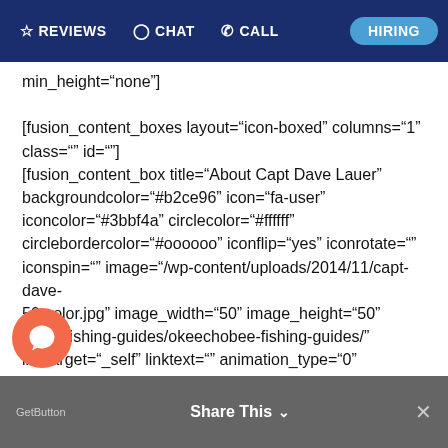REVIEWS  CHAT  CALL  HIRING
min_height="none"]

[fusion_content_boxes layout="icon-boxed" columns="1" class="" id=""]
[fusion_content_box title="About Capt Dave Lauer" backgroundcolor="#b2ce96" icon="fa-user" iconcolor="#3bbf4a" circlecolor="#ffffff" circlebordercolor="#000000" iconflip="yes" iconrotate="" iconspin="" image="/wp-content/uploads/2014/11/capt-dave-50-color.jpg" image_width="50" image_height="50" link="/fishing-guides/okeechobee-fishing-guides/" linktarget="_self" linktext="" animation_type="0" animation_direction="down" animation_speed="0.1"] Capt. David Lauer is part of our Bass Online Pro Team and considered a top pro angler on Lake Okeechobee. Full-time Lake Okeeechobee Fishing Guide that still fishes the FLW Outdoor Tour. Dave mainly guides out of Belle Glade, Fl at
Share This